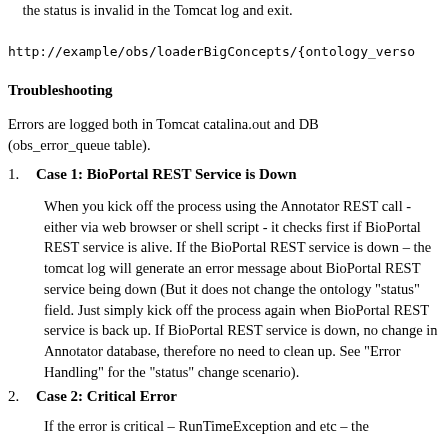...status is invalid in the Tomcat log and exit.
http://example/obs/loaderBigConcepts/{ontology_verso...
Troubleshooting
Errors are logged both in Tomcat catalina.out and DB (obs_error_queue table).
Case 1: BioPortal REST Service is Down

When you kick off the process using the Annotator REST call - either via web browser or shell script - it checks first if BioPortal REST service is alive. If the BioPortal REST service is down – the tomcat log will generate an error message about BioPortal REST service being down (But it does not change the ontology "status" field. Just simply kick off the process again when BioPortal REST service is back up. If BioPortal REST service is down, no change in Annotator database, therefore no need to clean up. See "Error Handling" for the "status" change scenario).
Case 2: Critical Error

If the error is critical – RunTimeException and etc – the